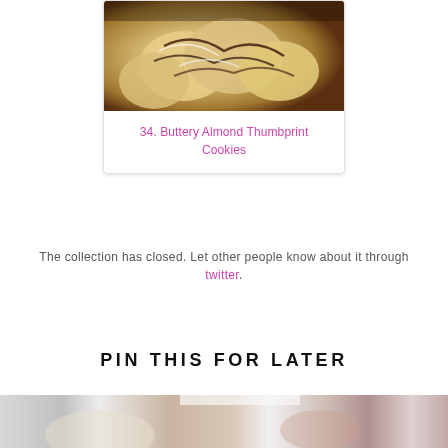[Figure (photo): Photo of buttery almond thumbprint cookies with chocolate drizzle and white icing on a card]
34. Buttery Almond Thumbprint Cookies
The collection has closed. Let other people know about it through twitter.
PIN THIS FOR LATER
[Figure (photo): Bottom partial image showing cookies on a surface, partially visible]